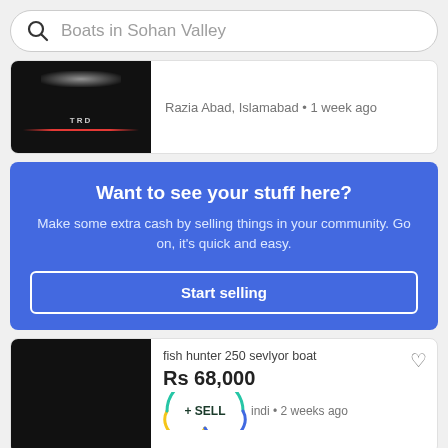Boats in Sohan Valley
Razia Abad, Islamabad · 1 week ago
Want to see your stuff here?
Make some extra cash by selling things in your community. Go on, it's quick and easy.
Start selling
fish hunter 250 sevlyor boat
Rs 68,000
+ SELL
indi · 2 weeks ago